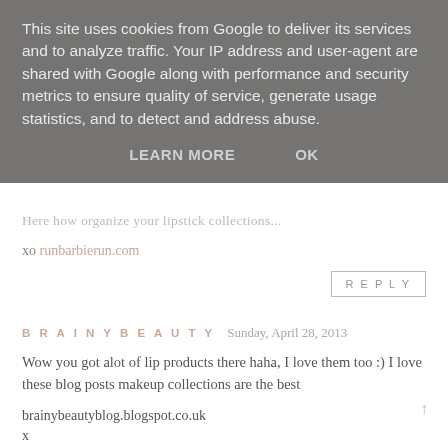This site uses cookies from Google to deliver its services and to analyze traffic. Your IP address and user-agent are shared with Google along with performance and security metrics to ensure quality of service, generate usage statistics, and to detect and address abuse.
LEARN MORE   OK
Here how organize your lipstick collections...
xo runbarbierun.com
REPLY
BRAINYBEAUTY  Sunday, April 28, 2013
Wow you got alot of lip products there haha, I love them too :) I love these blog posts makeup collections are the best
brainybeautyblog.blogspot.co.uk
x